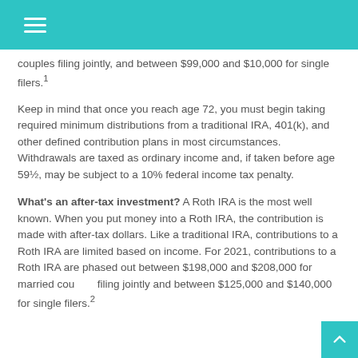couples filing jointly, and between $99,000 and $10,000 for single filers.1
Keep in mind that once you reach age 72, you must begin taking required minimum distributions from a traditional IRA, 401(k), and other defined contribution plans in most circumstances. Withdrawals are taxed as ordinary income and, if taken before age 59½, may be subject to a 10% federal income tax penalty.
What's an after-tax investment? A Roth IRA is the most well known. When you put money into a Roth IRA, the contribution is made with after-tax dollars. Like a traditional IRA, contributions to a Roth IRA are limited based on income. For 2021, contributions to a Roth IRA are phased out between $198,000 and $208,000 for married couples filing jointly and between $125,000 and $140,000 for single filers.2